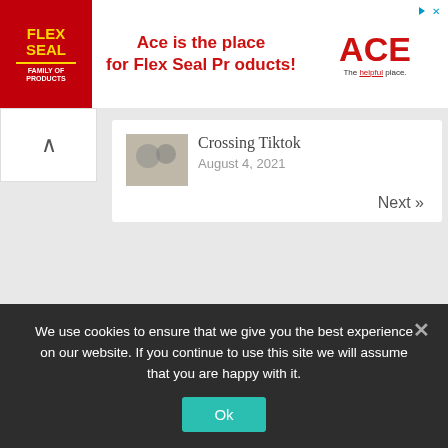[Figure (advertisement): Flex Seal / ACE Hardware advertisement banner. Red background on left with Flex Seal logo, text 'Ace is the place for Flex Seal Products!' in red, ACE logo on right with tagline 'The helpful place.']
Crossing Tiktok
August 4, 2021
Next »
Archives
March 2022
February 2022
January 2022
We use cookies to ensure that we give you the best experience on our website. If you continue to use this site we will assume that you are happy with it.